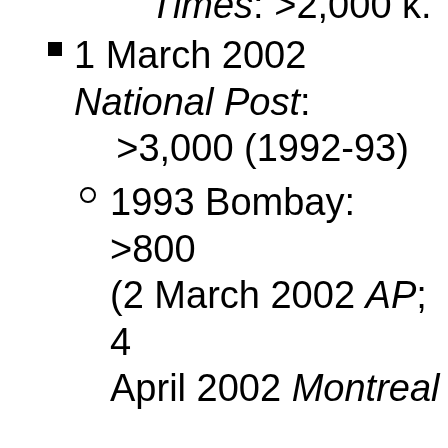Times: >2,000 k.
1 March 2002 National Post: >3,000 (1992-93)
1993 Bombay: >800 (2 March 2002 AP; 4 April 2002 Montreal Gazette)
2002 Gujerat: >800 (4 April 2002 Montreal